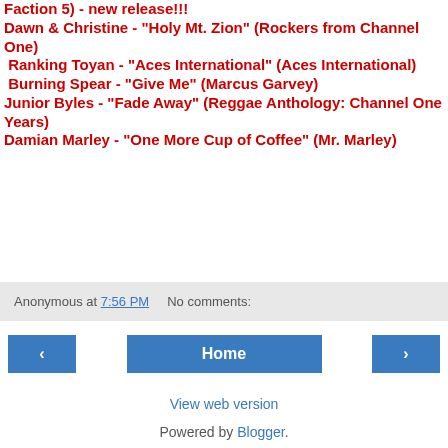Faction 5) - new release!!!
Dawn & Christine - "Holy Mt. Zion" (Rockers from Channel One)
Ranking Toyan - "Aces International" (Aces International)
Burning Spear - "Give Me" (Marcus Garvey)
Junior Byles - "Fade Away" (Reggae Anthology: Channel One Years)
Damian Marley - "One More Cup of Coffee" (Mr. Marley)
Anonymous at 7:56 PM   No comments:
Home
View web version
Powered by Blogger.